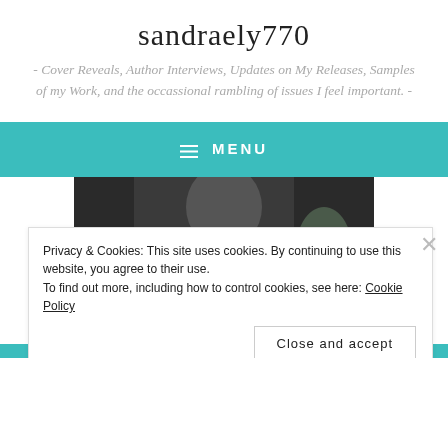sandraely770
- Cover Reveals, Author Interviews, Updates on My Releases, Samples of my Work, and the occassional rambling of issues I feel important. -
MENU
[Figure (photo): Partial photo of a person, cropped, dark background]
Privacy & Cookies: This site uses cookies. By continuing to use this website, you agree to their use.
To find out more, including how to control cookies, see here: Cookie Policy
Close and accept